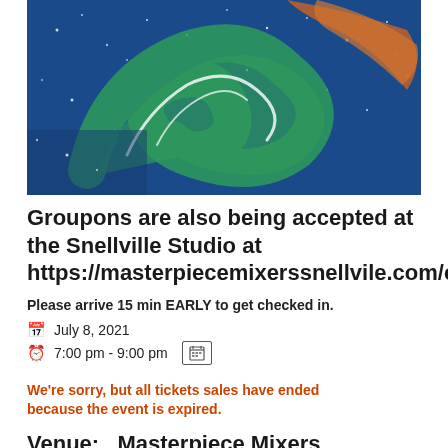[Figure (illustration): Colorful artwork with swirling green and orange shapes against a blue starry background — painting/illustration style]
Groupons are also being accepted at the Snellville Studio at https://masterpiecemixerssnellvile.com/calendar/
Please arrive 15 min EARLY to get checked in.
July 8, 2021
7:00 pm - 9:00 pm
We're sorry, but all tickets sales have ended because the event is expired.
Venue:   Masterpiece Mixers Downtown Square Lawrenceville